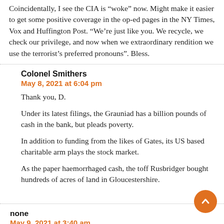Coincidentally, I see the CIA is “woke” now. Might make it easier to get some positive coverage in the op-ed pages in the NY Times, Vox and Huffington Post. “We’re just like you. We recycle, we check our privilege, and now when we extraordinary rendition we use the terrorist’s preferred pronouns”. Bless.
Colonel Smithers
May 8, 2021 at 6:04 pm
Thank you, D.
Under its latest filings, the Grauniad has a billion pounds of cash in the bank, but pleads poverty.
In addition to funding from the likes of Gates, its US based charitable arm plays the stock market.
As the paper haemorrhaged cash, the toff Rusbridger bought hundreds of acres of land in Gloucestershire.
none
May 9, 2021 at 3:40 am